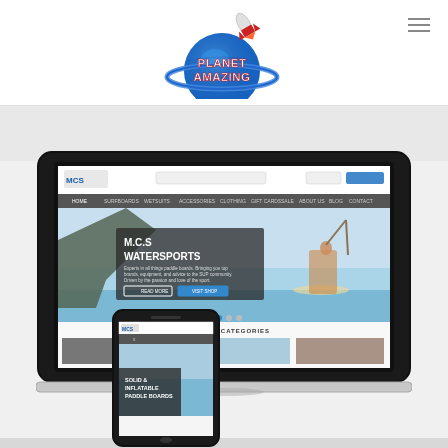[Figure (logo): Planet Amazing logo — blue planet/globe with rocket and text PLANET AMAZING in stylized font]
[Figure (screenshot): Screenshot mockup showing MCS Watersports website displayed on a laptop and mobile phone. Laptop shows the MCS Watersports homepage with hero image of person paddleboarding, site navigation, M.C.S WATERSPORTS headline text, READ MORE and VISIT SHOP buttons, and FEATURED CATEGORIES section below. Mobile phone shows same site with SOLID & INFLATABLE PADDLE BOARDS text visible.]